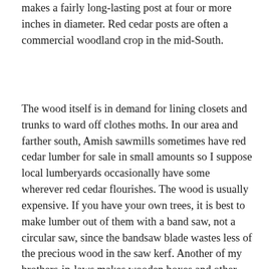makes a fairly long-lasting post at four or more inches in diameter. Red cedar posts are often a commercial woodland crop in the mid-South.
The wood itself is in demand for lining closets and trunks to ward off clothes moths. In our area and farther south, Amish sawmills sometimes have red cedar lumber for sale in small amounts so I suppose local lumberyards occasionally have some wherever red cedar flourishes. The wood is usually expensive. If you have your own trees, it is best to make lumber out of them with a band saw, not a circular saw, since the bandsaw blade wastes less of the precious wood in the saw kerf. Another of my brothers-in-laws makes wooden boxes and other knick knacks out of red cedar (see photo). The deep maroon wood with yellow sap wood  are most eye-catching.